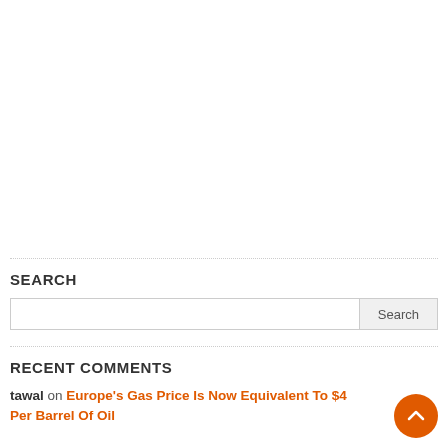SEARCH
Search input and button
RECENT COMMENTS
tawal on Europe's Gas Price Is Now Equivalent To $4 Per Barrel Of Oil